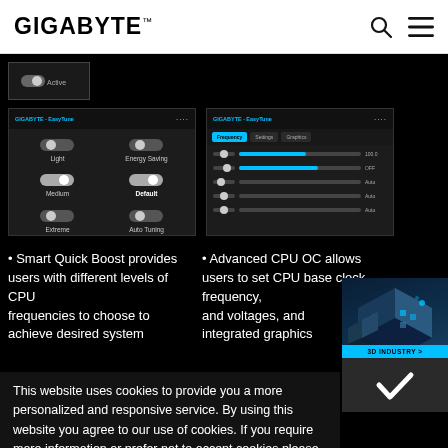[Figure (logo): GIGABYTE logo in header]
[Figure (screenshot): GIGABYTE EasyTune software interface showing toggle switches for Light, Energy Saving, Medium, Default, Extreme, Auto Tuning CPU frequency modes]
[Figure (screenshot): GIGABYTE EasyTune software interface showing CPU OC settings with sliders and bars]
• Smart Quick Boost provides users with different levels of CPU frequencies to choose to achieve desired system
• Advanced CPU OC allows users to set CPU base clock, frequency, and voltages, and integrated graphics
This website uses cookies to provide you a more personalized and responsive service. By using this website you agree to our use of cookies. If you require more information or prefer not to accept cookies please visit our Privacy Policy
[Figure (illustration): 3D Industry isometric building illustration with '3D INDUSTRY >' label and dark panel with checkmark]